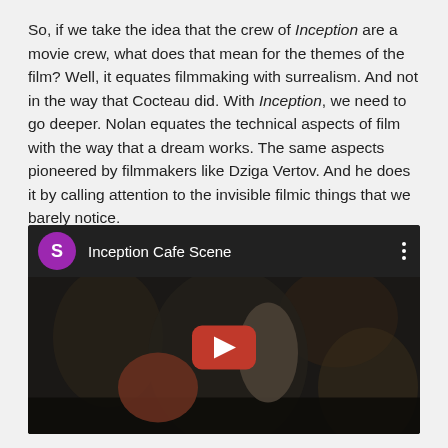So, if we take the idea that the crew of Inception are a movie crew, what does that mean for the themes of the film? Well, it equates filmmaking with surrealism. And not in the way that Cocteau did. With Inception, we need to go deeper. Nolan equates the technical aspects of film with the way that a dream works. The same aspects pioneered by filmmakers like Dziga Vertov. And he does it by calling attention to the invisible filmic things that we barely notice.
[Figure (screenshot): YouTube video embed showing 'Inception Cafe Scene' with a purple avatar circle with letter S, video title text, three-dot menu, and a dark film scene thumbnail with a red YouTube play button in the center.]